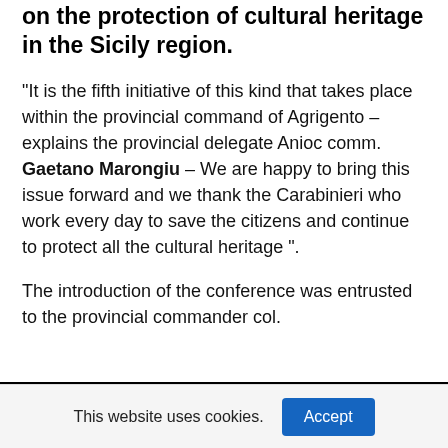on the protection of cultural heritage in the Sicily region.
“It is the fifth initiative of this kind that takes place within the provincial command of Agrigento – explains the provincial delegate Anioc comm. Gaetano Marongiu – We are happy to bring this issue forward and we thank the Carabinieri who work every day to save the citizens and continue to protect all the cultural heritage ”.
The introduction of the conference was entrusted to the provincial commander col.
This website uses cookies. Accept